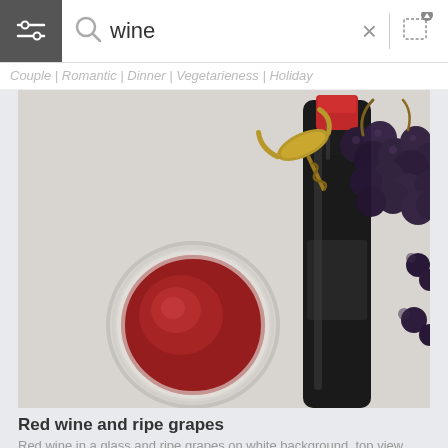wine
Couple | Romantic | Dinner | Vegetarieness | Holiday
[Figure (photo): Top-view photo of red wine in a glass, a dark wine bottle, a corkscrew, and a bunch of ripe dark grapes on a white background]
Red wine and ripe grapes
Red wine in a glass and ripe grapes on white background, top view
[Figure (photo): Partial bottom image showing red wine being poured, warm tones]